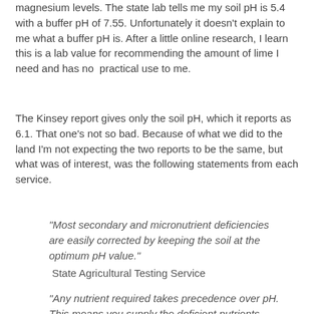magnesium levels. The state lab tells me my soil pH is 5.4 with a buffer pH of 7.55. Unfortunately it doesn't explain to me what a buffer pH is. After a little online research, I learn this is a lab value for recommending the amount of lime I need and has no  practical use to me.
The Kinsey report gives only the soil pH, which it reports as 6.1. That one's not so bad. Because of what we did to the land I'm not expecting the two reports to be the same, but what was of interest, was the following statements from each service.
"Most secondary and micronutrient deficiencies are easily corrected by keeping the soil at the optimum pH value."
 State Agricultural Testing Service
"Any nutrient required takes precedence over pH. This means you supply the deficient nutrients first, and when you finish balancing the nutrients, the pH will be right."        Neal Kinsey, Hands-On Agronomy.